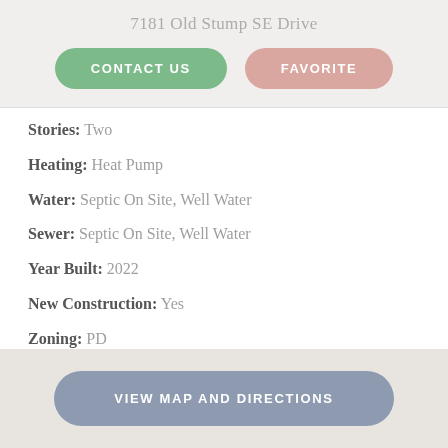7181 Old Stump SE Drive
CONTACT US | FAVORITE
Stories: Two
Heating: Heat Pump
Water: Septic On Site, Well Water
Sewer: Septic On Site, Well Water
Year Built: 2022
New Construction: Yes
Zoning: PD
View: Open
VIEW MAP AND DIRECTIONS